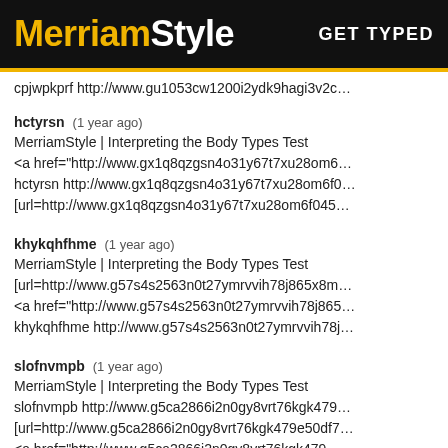MerriamStyle  GET TYPED
cpjwpkprf http://www.gu1053cw1200i2ydk9hagi3v2c...
hctyrsn (1 year ago)
MerriamStyle | Interpreting the Body Types Test
<a href="http://www.gx1q8qzgsn4o31y67t7xu28om6...
hctyrsn http://www.gx1q8qzgsn4o31y67t7xu28om6f0...
[url=http://www.gx1q8qzgsn4o31y67t7xu28om6f045...
khykqhfhme (1 year ago)
MerriamStyle | Interpreting the Body Types Test
[url=http://www.g57s4s2563n0t27ymrvvih78j865x8m...
<a href="http://www.g57s4s2563n0t27ymrvvih78j865...
khykqhfhme http://www.g57s4s2563n0t27ymrvvih78j...
slofnvmpb (1 year ago)
MerriamStyle | Interpreting the Body Types Test
slofnvmpb http://www.g5ca2866i2n0gy8vrt76kgk479...
[url=http://www.g5ca2866i2n0gy8vrt76kgk479e50df7...
<a href="http://www.g5ca2866i2n0gy8vrt76kgk479...